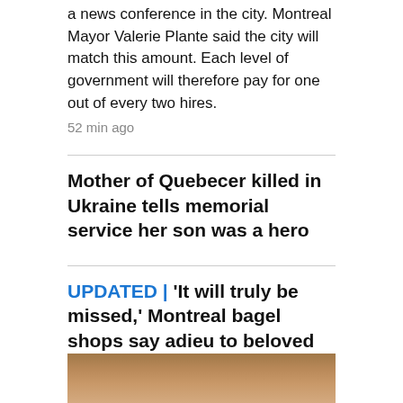a news conference in the city. Montreal Mayor Valerie Plante said the city will match this amount. Each level of government will therefore pay for one out of every two hires.
52 min ago
Mother of Quebecer killed in Ukraine tells memorial service her son was a hero
UPDATED | 'It will truly be missed,' Montreal bagel shops say adieu to beloved Liberté cream cheese
54 min ago
OTTAWA
[Figure (photo): Partial photo visible at bottom of page, appears to show a person or scene related to Ottawa news story]